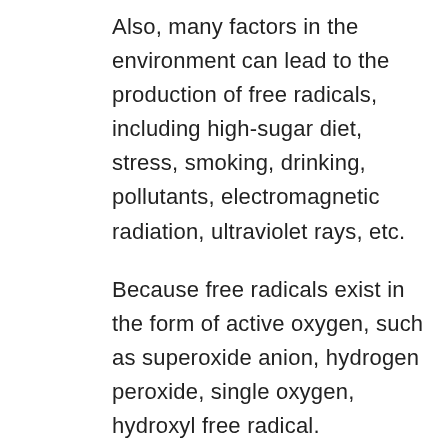Also, many factors in the environment can lead to the production of free radicals, including high-sugar diet, stress, smoking, drinking, pollutants, electromagnetic radiation, ultraviolet rays, etc.
Because free radicals exist in the form of active oxygen, such as superoxide anion, hydrogen peroxide, single oxygen, hydroxyl free radical.
Anti-oxidant is the process of resisting the damage of these reactive oxygen